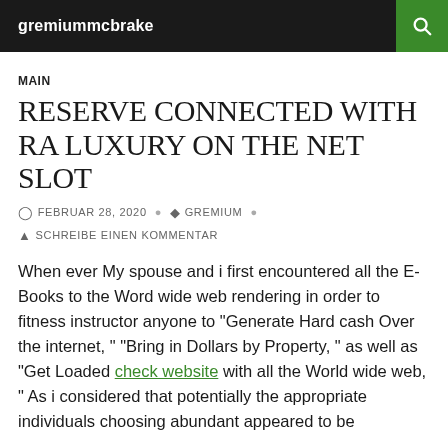gremiummcbrake
MAIN
RESERVE CONNECTED WITH RA LUXURY ON THE NET SLOT
FEBRUAR 28, 2020  GREMIUM  SCHREIBE EINEN KOMMENTAR
When ever My spouse and i first encountered all the E-Books to the Word wide web rendering in order to fitness instructor anyone to "Generate Hard cash Over the internet, " "Bring in Dollars by Property, " as well as "Get Loaded check website with all the World wide web, " As i considered that potentially the appropriate individuals choosing abundant appeared to be